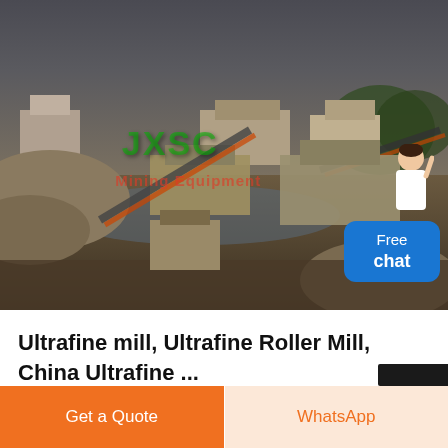[Figure (photo): Outdoor mining/quarrying site with heavy equipment, conveyor belts, stone piles, and industrial buildings in the background. Image has a green and red watermark overlay reading 'JXSC Mining Equipment'.]
Ultrafine mill, Ultrafine Roller Mill, China Ultrafine ...
Get a Quote
WhatsApp